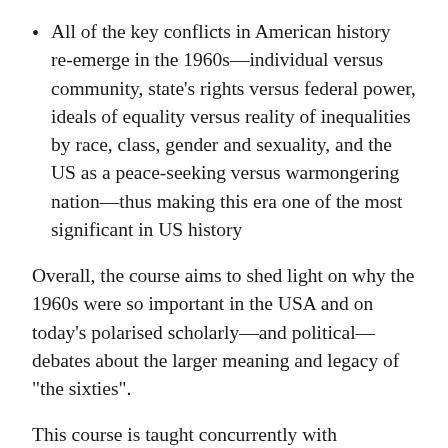All of the key conflicts in American history re-emerge in the 1960s—individual versus community, state's rights versus federal power, ideals of equality versus reality of inequalities by race, class, gender and sexuality, and the US as a peace-seeking versus warmongering nation—thus making this era one of the most significant in US history
Overall, the course aims to shed light on why the 1960s were so important in the USA and on today's polarised scholarly—and political—debates about the larger meaning and legacy of "the sixties".
This course is taught concurrently with HISTORY 341, and students share a lecture time. However, HISTORY 241 differs from HISTORY 341 in that students have separate tutorials and different assessment.